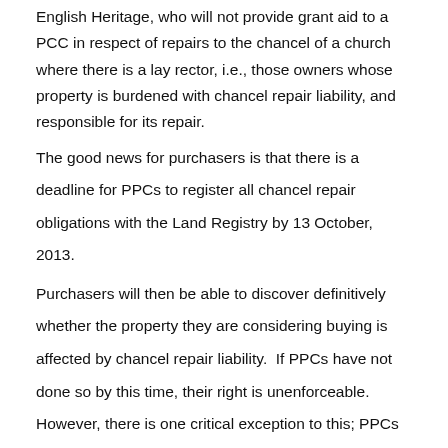English Heritage, who will not provide grant aid to a PCC in respect of repairs to the chancel of a church where there is a lay rector, i.e., those owners whose property is burdened with chancel repair liability, and responsible for its repair.
The good news for purchasers is that there is a deadline for PPCs to register all chancel repair obligations with the Land Registry by 13 October, 2013.
Purchasers will then be able to discover definitively whether the property they are considering buying is affected by chancel repair liability.  If PPCs have not done so by this time, their right is unenforceable.  However, there is one critical exception to this; PPCs are still able to register their interest after 13 October, 2013 whilst property owners before this date are still the proprietor.
What Does This Mean To You?
3.5 million acres of land in England and Wales, and the homes, schools, hospitals and factories built on it, are now thought to be potentially at risk.   The property does not have to be near a church, or in the countryside (many urban parishes, such as Fulham in London are at risk), it just needs to be burdened with the liability to